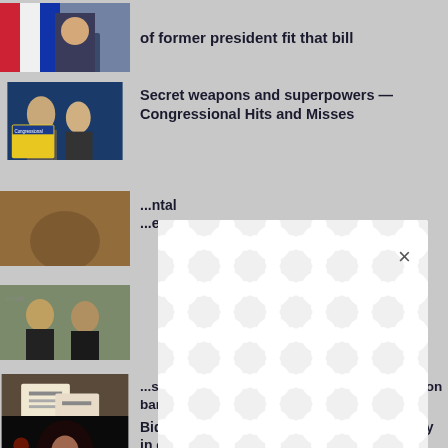[Figure (photo): Partial photo of a man in suit speaking, cut off at top]
of former president fit that bill
[Figure (photo): Two politicians speaking, Congressional Hits and Misses book cover visible]
Secret weapons and superpowers — Congressional Hits and Misses
[Figure (photo): Partially visible image, obscured by modal]
...ntal ...e
[Figure (photo): Partially visible image, obscured by modal]
[Figure (photo): Person holding documents or certificates]
...s dark view of US not visible in red county on banks of Potomac River
[Figure (photo): Dark photo of person on stage with red lighting]
Biden asks Americans to defend democracy in elections, politics
[Figure (other): White modal popup with decorative circular pattern background and X close button]